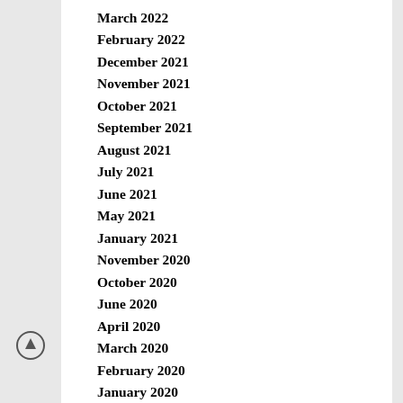March 2022
February 2022
December 2021
November 2021
October 2021
September 2021
August 2021
July 2021
June 2021
May 2021
January 2021
November 2020
October 2020
June 2020
April 2020
March 2020
February 2020
January 2020
December 2019
November 2019